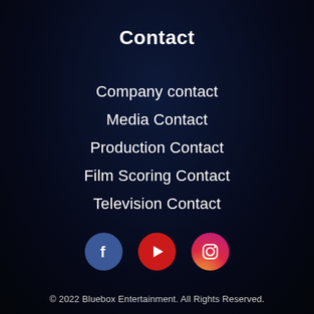Contact
Company contact
Media Contact
Production Contact
Film Scoring Contact
Television Contact
[Figure (illustration): Three social media icons: Facebook (blue circle with f), YouTube (red circle with play button), Instagram (gradient circle with camera icon)]
© 2022 Bluebox Entertainment. All Rights Reserved.